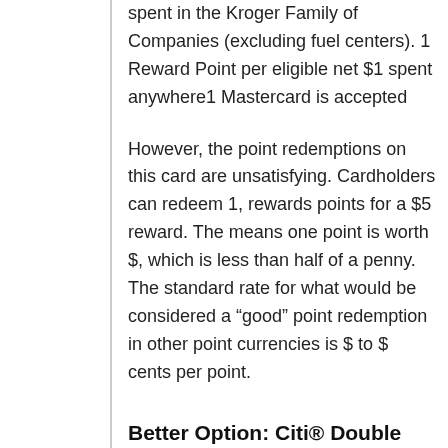spent in the Kroger Family of Companies (excluding fuel centers). 1 Reward Point per eligible net $1 spent anywhere1 Mastercard is accepted
However, the point redemptions on this card are unsatisfying. Cardholders can redeem 1, rewards points for a $5 reward. The means one point is worth $, which is less than half of a penny. The standard rate for what would be considered a “good” point redemption in other point currencies is $ to $ cents per point.
Better Option: Citi® Double Cash